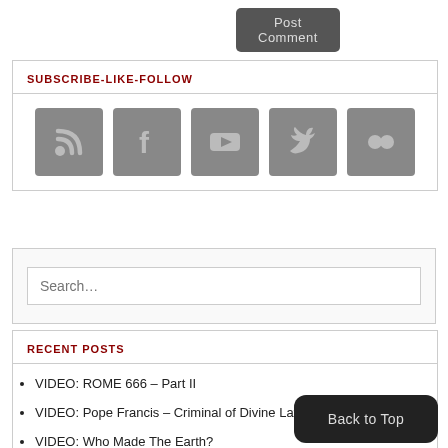[Figure (screenshot): Post Comment button — dark grey rounded rectangle button with text 'Post Comment']
SUBSCRIBE-LIKE-FOLLOW
[Figure (infographic): Row of 5 social media icon buttons (RSS, Facebook, YouTube, Twitter, Flickr) in grey square tiles]
[Figure (screenshot): Search input field with placeholder text 'Search...']
RECENT POSTS
VIDEO: ROME 666 – Part II
VIDEO: Pope Francis – Criminal of Divine Law
VIDEO: Who Made The Earth?
VIDEO: Pope Francis – Man…
VIDEO: False Prophet Pope …
VIDEO: Pope Francis 2017 Review
Back to Top